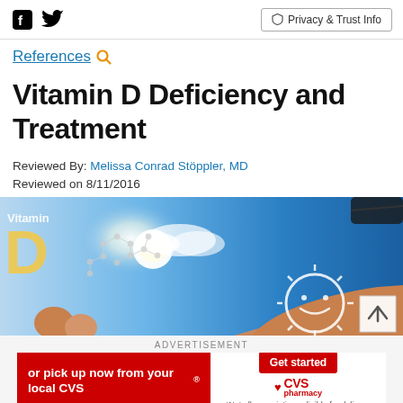Social icons (Facebook, Twitter) | Privacy & Trust Info
References
Vitamin D Deficiency and Treatment
Reviewed By: Melissa Conrad Stöppler, MD
Reviewed on 8/11/2016
[Figure (photo): Photo of a hand holding a Vitamin D molecule in front of a sunny blue sky, with a smiling sun drawn on skin in the background. Text 'Vitamin D' visible.]
ADVERTISEMENT
[Figure (infographic): CVS Pharmacy advertisement banner: 'or pick up now from your local CVS®' with a 'Get started' button and CVS pharmacy logo. Footnote: '*Not all prescriptions eligible for delivery.']